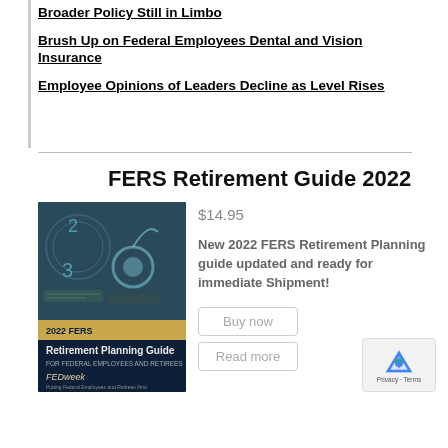Broader Policy Still in Limbo
Brush Up on Federal Employees Dental and Vision Insurance
Employee Opinions of Leaders Decline as Level Rises
FERS Retirement Guide 2022
[Figure (photo): Book cover of '2022 FERS Retirement Planning Guide for Federal Employees and Retirees' by FEDweek, with stethoscope and money imagery]
$14.95
New 2022 FERS Retirement Planning guide updated and ready for immediate Shipment!
Buy now
Read more